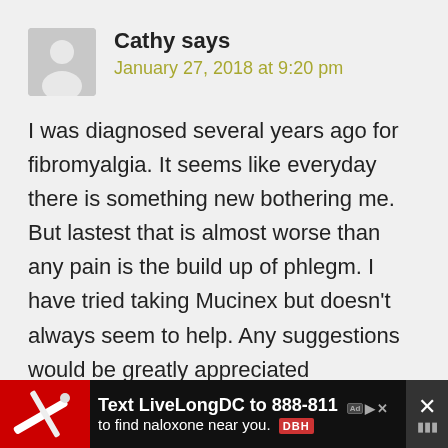Cathy says
January 27, 2018 at 9:20 pm
I was diagnosed several years ago for fibromyalgia. It seems like everyday there is something new bothering me. But lastest that is almost worse than any pain is the build up of phlegm. I have tried taking Mucinex but doesn't always seem to help. Any suggestions would be greatly appreciated
[Figure (screenshot): Advertisement banner: Text LiveLongDC to 888-811 to find naloxone near you. DBH logo visible. Red background with syringe image.]